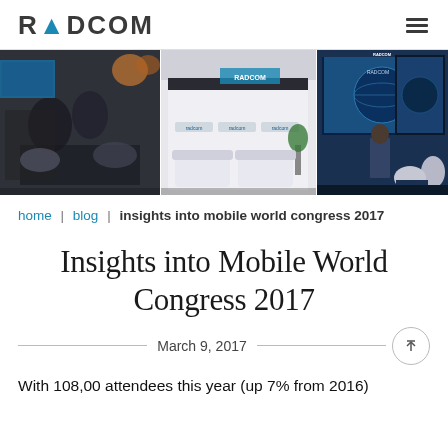RADCOM
[Figure (photo): Composite hero image showing RADCOM conference booth at Mobile World Congress 2017, with multiple panels: attendees at a meeting table, the RADCOM booth exterior with branded signage, a presenter at a display screen, a lounge area, and a display wall with screens.]
home | blog | insights into mobile world congress 2017
Insights into Mobile World Congress 2017
March 9, 2017
With 108,00 attendees this year (up 7% from 2016)